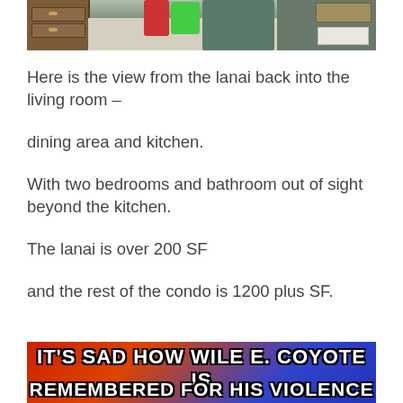[Figure (photo): View from a lanai into a living room showing a wooden dresser on the left, bags and a chair in the center, and a sofa with books and white boxes on the right.]
Here is the view from the lanai back into the living room –
dining area and kitchen.
With two bedrooms and bathroom out of sight beyond the kitchen.
The lanai is over 200 SF
and the rest of the condo is 1200 plus SF.
[Figure (photo): Meme image with bold white text on a red and blue background reading: IT'S SAD HOW WILE E. COYOTE IS REMEMBERED FOR HIS VIOLENCE]